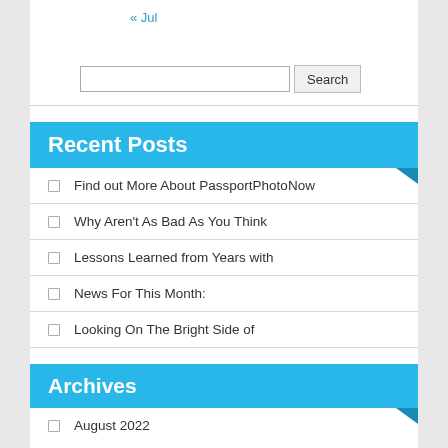« Jul
Recent Posts
Find out More About PassportPhotoNow
Why Aren't As Bad As You Think
Lessons Learned from Years with
News For This Month:
Looking On The Bright Side of
Archives
August 2022